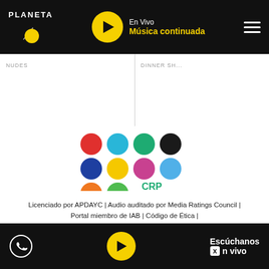PLANETA | En Vivo | Música continuada
[Figure (logo): CRP Radios logo with colored dots grid (red, blue, teal, black; blue, yellow, magenta, light blue; orange, green) and CRP RADIOS text in green]
Licenciado por APDAYC | Audio auditado por Media Ratings Council | Portal miembro de IAB | Código de Ética | Términos y Condiciones, Política de Protección de Datos Personales y Política de Cookies |
Escúchanos en vivo